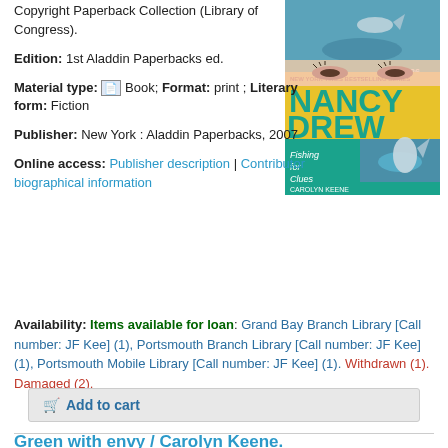Copyright Paperback Collection (Library of Congress).
Edition: 1st Aladdin Paperbacks ed.
Material type: Book; Format: print ; Literary form: Fiction
Publisher: New York : Aladdin Paperbacks, 2007
Online access: Publisher description | Contributor biographical information
Availability: Items available for loan: Grand Bay Branch Library [Call number: JF Kee] (1), Portsmouth Branch Library [Call number: JF Kee] (1), Portsmouth Mobile Library [Call number: JF Kee] (1). Withdrawn (1). Damaged (2).
[Figure (photo): Book cover of Nancy Drew #26 'Fishing for Clues' by Carolyn Keene, showing a fish leaping from water and a girl's eyes, with teal/green and yellow design.]
Add to cart
Green with envy / Carolyn Keene.
by Keene, Carolyn.